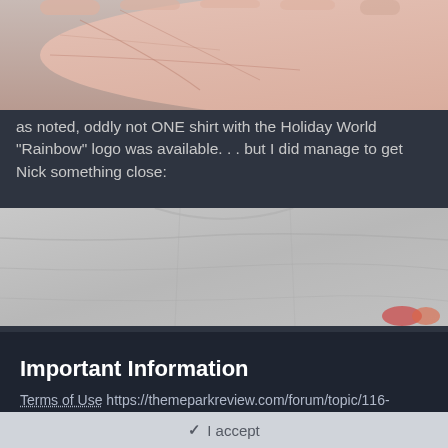[Figure (photo): Close-up photo of an open human palm, showing the lines and skin texture of a hand, with a grayish background (concrete surface) visible below.]
as noted, oddly not ONE shirt with the Holiday World "Rainbow" logo was available. . . but I did manage to get Nick something close:
[Figure (photo): Photo of a person wearing a light gray t-shirt, showing the torso area from chest to waist. A small colorful logo or graphic is partially visible at the bottom right.]
Important Information
Terms of Use https://themeparkreview.com/forum/topic/116-terms-of-service-please-read/
✓  I accept